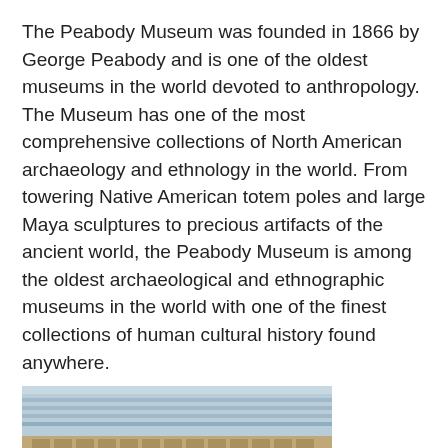The Peabody Museum was founded in 1866 by George Peabody and is one of the oldest museums in the world devoted to anthropology. The Museum has one of the most comprehensive collections of North American archaeology and ethnology in the world. From towering Native American totem poles and large Maya sculptures to precious artifacts of the ancient world, the Peabody Museum is among the oldest archaeological and ethnographic museums in the world with one of the finest collections of human cultural history found anywhere.
[Figure (photo): A close-up photograph of an ancient stone sculpture or statue head, looking upward, with architectural elements (columns/beams) visible in the background under a skylight.]
Harvard Semitic Museum
Founded in 1889, the Harvard Semitic Museum houses more than 40,000 Near Eastern artifacts, mostly from